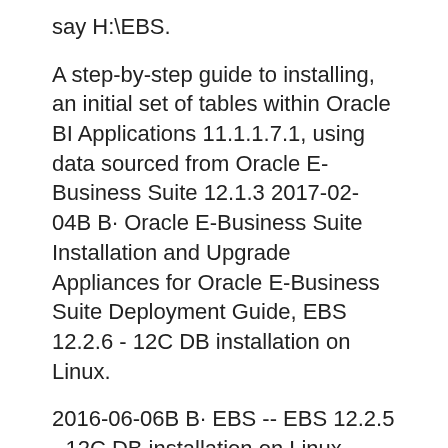say H:\EBS.
A step-by-step guide to installing, an initial set of tables within Oracle BI Applications 11.1.1.7.1, using data sourced from Oracle E-Business Suite 12.1.3 2017-02-04B B· Oracle E-Business Suite Installation and Upgrade Appliances for Oracle E-Business Suite Deployment Guide, EBS 12.2.6 - 12C DB installation on Linux.
2016-06-06B B· EBS -- EBS 12.2.5 - 12C DB installation on Linux "OracleB® E-Business Suite Upgrade Guide Release 12.0 and 12.1 to 12вЂ¦ 2014-11-09B B· Install Oracle E-Business Suite R12.2.4 on Oracle VirtualBox VM - Duration: